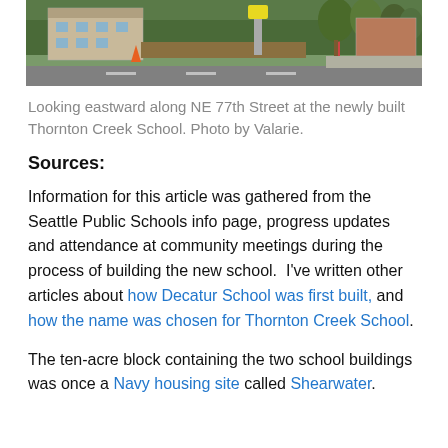[Figure (photo): Street-level photo looking eastward along NE 77th Street at the newly built Thornton Creek School, showing a road, trees, a fence, and school buildings in the background.]
Looking eastward along NE 77th Street at the newly built Thornton Creek School. Photo by Valarie.
Sources:
Information for this article was gathered from the Seattle Public Schools info page, progress updates and attendance at community meetings during the process of building the new school.  I've written other articles about how Decatur School was first built, and how the name was chosen for Thornton Creek School.
The ten-acre block containing the two school buildings was once a Navy housing site called Shearwater.